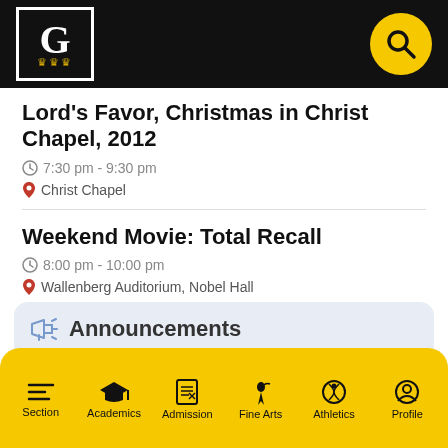G [Gustavus logo] [search icon]
Lord's Favor, Christmas in Christ Chapel, 2012
7:30 pm - 9:30 pm
Christ Chapel
Weekend Movie: Total Recall
8:00 pm - 10:00 pm
Wallenberg Auditorium, Nobel Hall
Announcements
Theta Babysitting on December 7
Lund/Visitor Lots to Close
Section  Academics  Admission  Fine Arts  Athletics  Profile